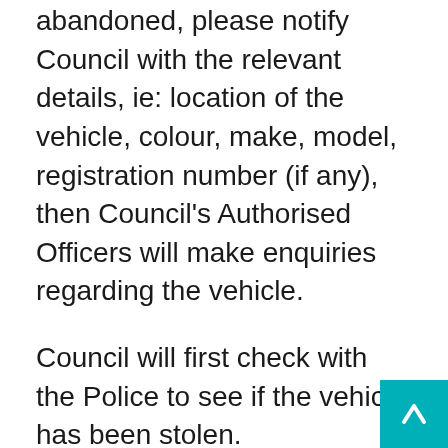abandoned, please notify Council with the relevant details, ie: location of the vehicle, colour, make, model, registration number (if any), then Council's Authorised Officers will make enquiries regarding the vehicle.
Council will first check with the Police to see if the vehicle has been stolen.
If the vehicle is unregistered, Council will place a Notice to Comply on the vehicle requiring that the vehicle be removed, usually within 24 hours. If the vehicle is not removed by the nominated time, Council will remove the vehicle and relocate it to its impounding yard. The last registered owner